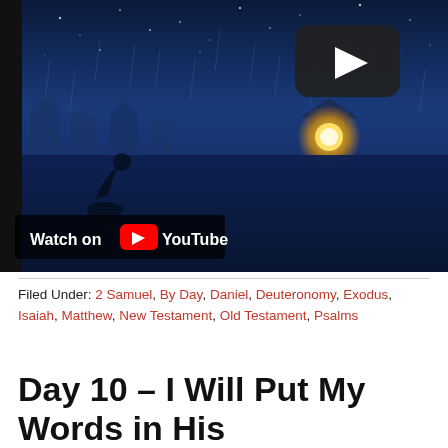[Figure (screenshot): YouTube video thumbnail showing an animated night scene with a dark blue sky, stars, a figure in the foreground, and a small glowing yellow house in the background. A YouTube play button overlay is visible in the upper right. A 'Watch on YouTube' badge appears at the bottom left.]
Filed Under: 2 Samuel, By Day, Daniel, Deuteronomy, Exodus, Isaiah, Matthew, New Testament, Old Testament, Psalms
Day 10 – I Will Put My Words in His